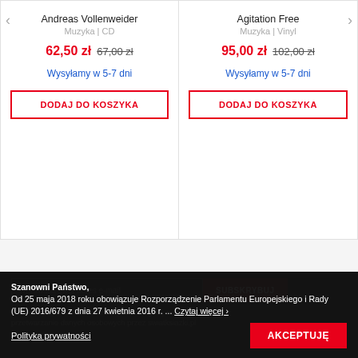Andreas Vollenweider
Muzyka | CD
62,50 zł  67,00 zł
Wysyłamy w 5-7 dni
DODAJ DO KOSZYKA
Agitation Free
Muzyka | Vinyl
95,00 zł  102,00 zł
Wysyłamy w 5-7 dni
DODAJ DO KOSZYKA
Szanowni Państwo, Od 25 maja 2018 roku obowiązuje Rozporządzenie Parlamentu Europejskiego i Rady (UE) 2016/679 z dnia 27 kwietnia 2016 r. ... Czytaj więcej >
Polityka prywatności
AKCEPTUJĘ